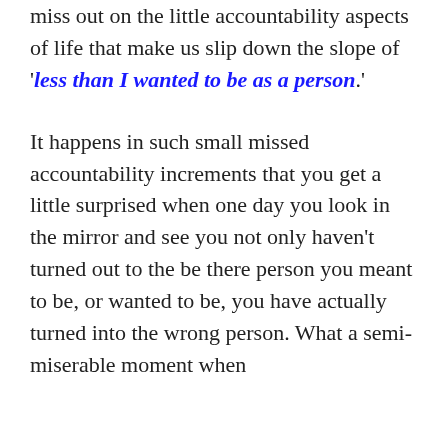miss out on the little accountability aspects of life that make us slip down the slope of 'less than I wanted to be as a person.'
It happens in such small missed accountability increments that you get a little surprised when one day you look in the mirror and see you not only haven't turned out to the be there person you meant to be, or wanted to be, you have actually turned into the wrong person. What a semi-miserable moment when